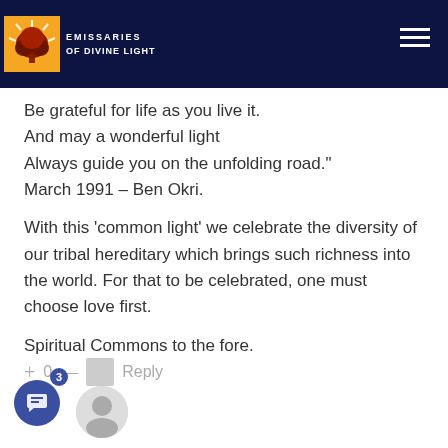Emissaries of Divine Light
Be grateful for life as you live it.
And may a wonderful light
Always guide you on the unfolding road."
March 1991 – Ben Okri.
With this 'common light' we celebrate the diversity of our tribal hereditary which brings such richness into the world. For that to be celebrated, one must choose love first.
Spiritual Commons to the fore.